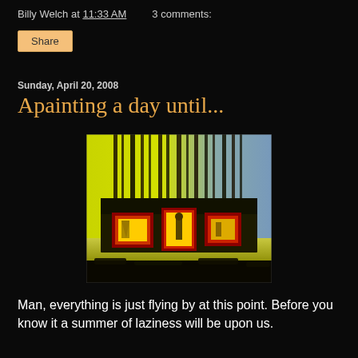Billy Welch at 11:33 AM   3 comments:
Share
Sunday, April 20, 2008
Apainting a day until...
[Figure (photo): Abstract expressionist painting showing dark building structures with illuminated red-framed windows against a yellow and blue-green brushstroke background, with dark dripping vertical strokes above.]
Man, everything is just flying by at this point. Before you know it a summer of laziness will be upon us.